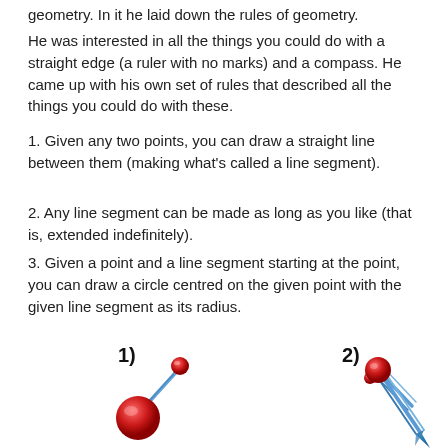geometry. In it he laid down the rules of geometry.
He was interested in all the things you could do with a straight edge (a ruler with no marks) and a compass. He came up with his own set of rules that described all the things you could do with these.
1. Given any two points, you can draw a straight line between them (making what's called a line segment).
2. Any line segment can be made as long as you like (that is, extended indefinitely).
3. Given a point and a line segment starting at the point, you can draw a circle centred on the given point with the given line segment as its radius.
[Figure (illustration): Two illustrations labeled 1) and 2) showing geometric compass constructions with red spheres (points) connected by blue line segments. Illustration 1) shows two red spheres connected by a blue line. Illustration 2) shows a compass tool with a red sphere at the pivot and a pointed tip extending downward-right.]